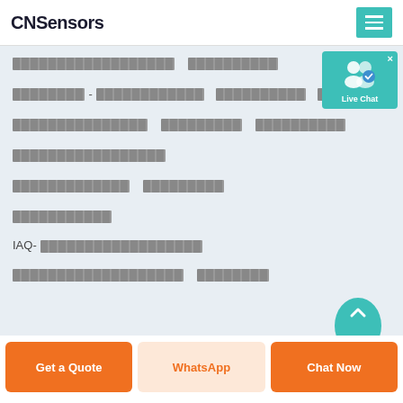CNSensors
[redacted] [redacted]
[redacted] - [redacted] [redacted]
[redacted] [redacted] [redacted]
[redacted]
[redacted] [redacted]
[redacted]
IAQ- [redacted]
[redacted] [redacted]
[Figure (screenshot): Live Chat widget with teal background, user icons, checkmark badge, and 'Live Chat' label]
Get a Quote | WhatsApp | Chat Now